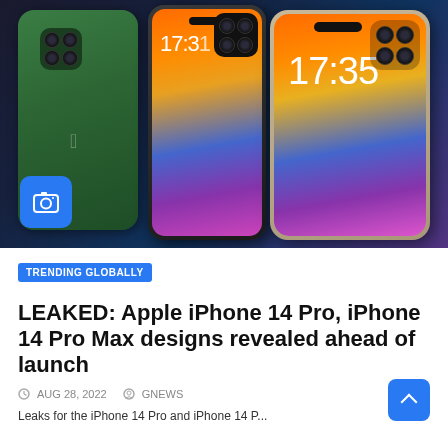[Figure (photo): Photo of Apple iPhone 14 Pro and iPhone 14 Pro Max concept renders showing green and dark colorways, displayed side by side against a dark background. A blue camera icon overlay appears in the bottom-left corner of the image.]
TRENDING GLOBALLY
LEAKED: Apple iPhone 14 Pro, iPhone 14 Pro Max designs revealed ahead of launch
AUG 28, 2022   GNEWS
Leaks for the iPhone 14 Pro and iPhone 14 P...